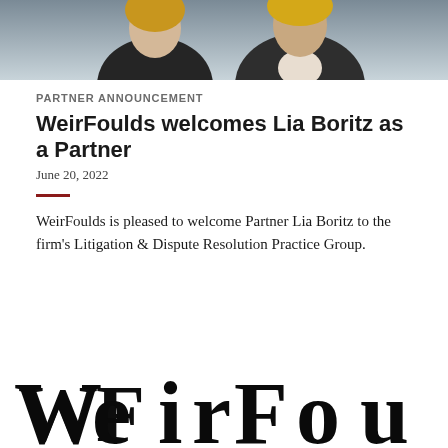[Figure (photo): Cropped photo showing two people (partially visible) in professional attire against a dark/neutral background]
PARTNER ANNOUNCEMENT
WeirFoulds welcomes Lia Boritz as a Partner
June 20, 2022
WeirFoulds is pleased to welcome Partner Lia Boritz to the firm's Litigation & Dispute Resolution Practice Group.
[Figure (logo): WeirFoulds law firm logo — large serif wordmark partially visible at bottom of page]